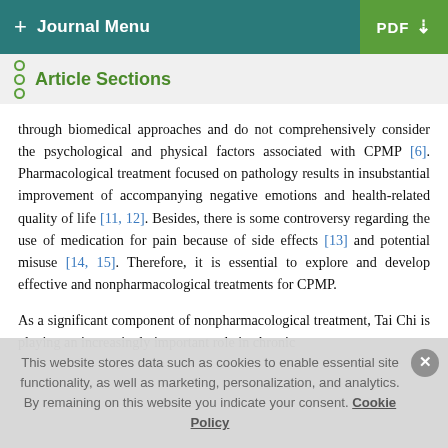+ Journal Menu | PDF ↓
Article Sections
through biomedical approaches and do not comprehensively consider the psychological and physical factors associated with CPMP [6]. Pharmacological treatment focused on pathology results in insubstantial improvement of accompanying negative emotions and health-related quality of life [11, 12]. Besides, there is some controversy regarding the use of medication for pain because of side effects [13] and potential misuse [14, 15]. Therefore, it is essential to explore and develop effective and nonpharmacological treatments for CPMP.
As a significant component of nonpharmacological treatment, Tai Chi is playing an increasingly important role in chronic
This website stores data such as cookies to enable essential site functionality, as well as marketing, personalization, and analytics. By remaining on this website you indicate your consent. Cookie Policy